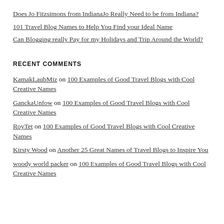Does Jo Fitzsimons from IndianaJo Really Need to be from Indiana?
101 Travel Blog Names to Help You Find your Ideal Name
Can Blogging really Pay for my Holidays and Trip Around the World?
RECENT COMMENTS
KamakLaubMiz on 100 Examples of Good Travel Blogs with Cool Creative Names
GanckaUnfow on 100 Examples of Good Travel Blogs with Cool Creative Names
RoyTet on 100 Examples of Good Travel Blogs with Cool Creative Names
Kirsty Wood on Another 25 Great Names of Travel Blogs to Inspire You
woody world packer on 100 Examples of Good Travel Blogs with Cool Creative Names